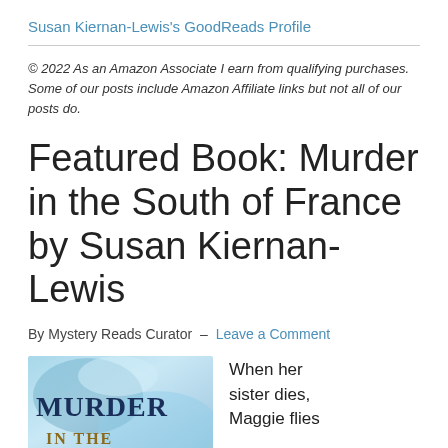Susan Kiernan-Lewis's GoodReads Profile
© 2022 As an Amazon Associate I earn from qualifying purchases. Some of our posts include Amazon Affiliate links but not all of our posts do.
Featured Book: Murder in the South of France by Susan Kiernan-Lewis
By Mystery Reads Curator — Leave a Comment
[Figure (photo): Book cover of 'Murder in the South of France' showing the word MURDER in large dark blue letters on a light blue abstract background with 'IN THE' visible at the bottom.]
When her sister dies, Maggie flies